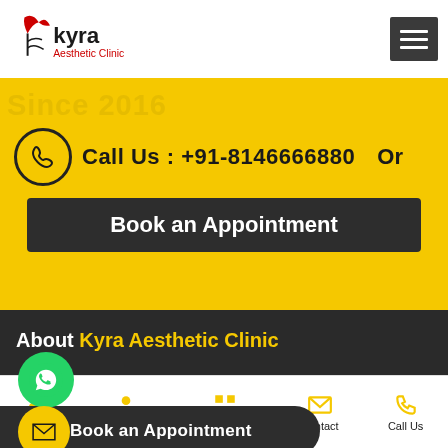Kyra Aesthetic Clinic
Call Us : +91-8146666880   Or
Book an Appointment
About Kyra Aesthetic Clinic
Kyra Aesthetic Clinic is counted among the top 5 best cosmetic surgeons in Ludhiana, Punjab.
Book an Appointment
READ MORE
Home  About Us  Our Range  Contact  Call Us